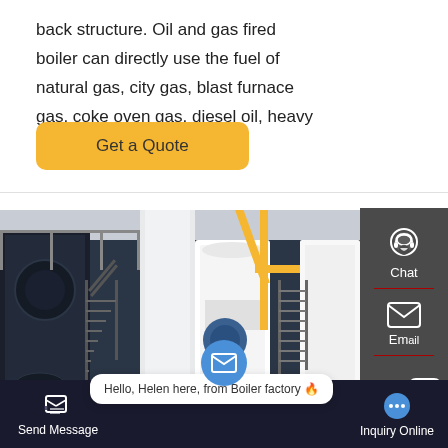back structure. Oil and gas fired boiler can directly use the fuel of natural gas, city gas, blast furnace gas, coke oven gas, diesel oil, heavy oil and city gas.
Get a Quote
[Figure (photo): Industrial boiler factory floor showing large dark-colored boilers on the left and white cylindrical steam boilers with yellow gas pipes on the right, connected by metal staircases and walkways.]
Chat
Email
Contact
Send Message
Hello, Helen here, from Boiler factory 🔥
Inquiry Online